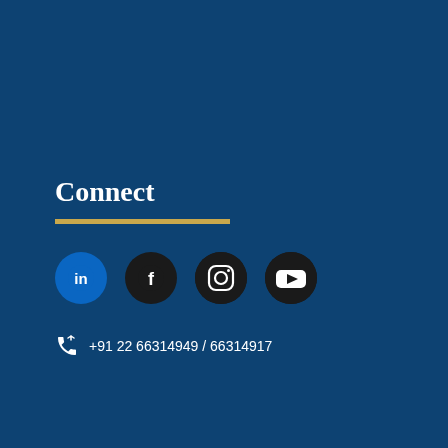Connect
[Figure (infographic): Social media icons: LinkedIn, Facebook, Instagram, YouTube in dark circular buttons on a dark blue background]
+91 22 66314949 / 66314917